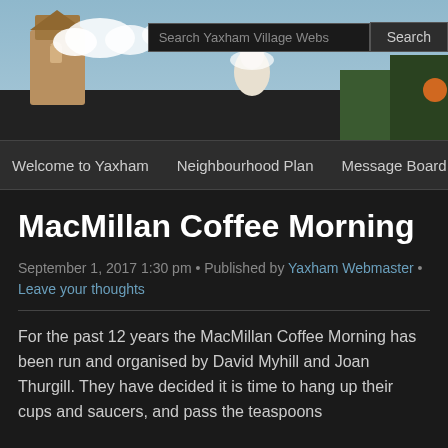[Figure (photo): Website header image showing a church tower and village scene with figures, against a blue-grey sky. A dark overlay covers the lower portion of the header.]
Search Yaxham Village Webs   Search
Welcome to Yaxham   Neighbourhood Plan   Message Board   Loc
MacMillan Coffee Morning
September 1, 2017 1:30 pm • Published by Yaxham Webmaster • Leave your thoughts
For the past 12 years the MacMillan Coffee Morning has been run and organised by David Myhill and Joan Thurgill. They have decided it is time to hang up their cups and saucers, and pass the teaspoons